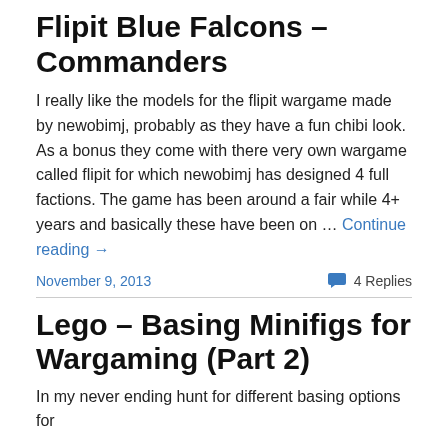Flipit Blue Falcons – Commanders
I really like the models for the flipit wargame made by newobimj, probably as they have a fun chibi look. As a bonus they come with there very own wargame called flipit for which newobimj has designed 4 full factions. The game has been around a fair while 4+ years and basically these have been on … Continue reading →
November 9, 2013
4 Replies
Lego – Basing Minifigs for Wargaming (Part 2)
In my never ending hunt for different basing options for